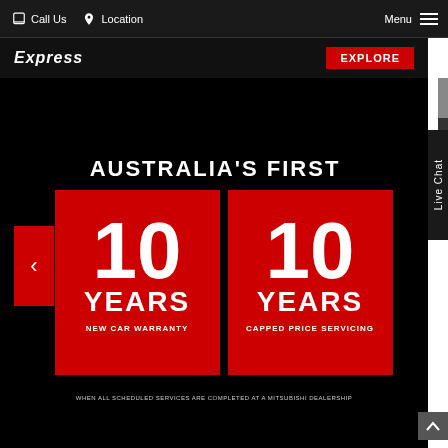Call Us   Location   Menu
Express
Explore
[Figure (infographic): Australia's First promotional banner on black background showing two red boxes: 10 YEARS NEW CAR WARRANTY and 10 YEARS CAPPED PRICE SERVICING with disclaimer text below]
Live Chat